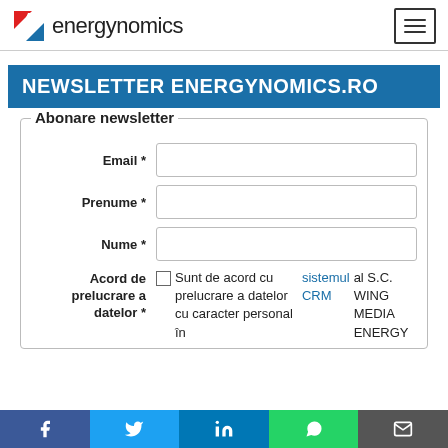energynomics
NEWSLETTER ENERGYNOMICS.RO
Abonare newsletter
Email *
Prenume *
Nume *
Acord de prelucrare a datelor * — Sunt de acord cu prelucrare a datelor cu caracter personal în sistemul CRM al S.C. WING MEDIA ENERGY